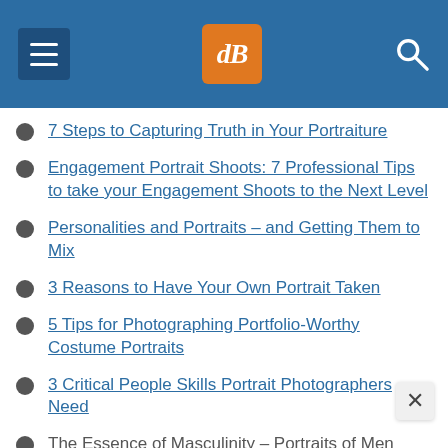dPS navigation header
7 Steps to Capturing Truth in Your Portraiture
Engagement Portrait Shoots: 7 Professional Tips to take your Engagement Shoots to the Next Level
Personalities and Portraits – and Getting Them to Mix
3 Reasons to Have Your Own Portrait Taken
5 Tips for Photographing Portfolio-Worthy Costume Portraits
3 Critical People Skills Portrait Photographers Need
The Essence of Masculinity – Portraits of Men